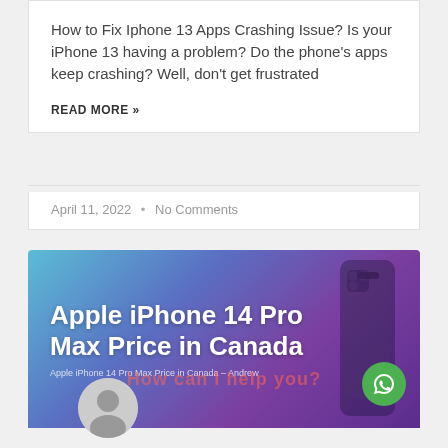How to Fix Iphone 13 Apps Crashing Issue? Is your iPhone 13 having a problem? Do the phone’s apps keep crashing? Well, don’t get frustrated
READ MORE »
April 11, 2022  •  No Comments
[Figure (photo): Promotional image for 'Apple iPhone 14 Pro Max Price in Canada' article. Shows a dark-toned iPhone against a blue-to-purple gradient background. Bold white text reads 'Apple iPhone 14 Pro Max Price in Canada'. Subtitle text: 'Apple iPhone 14 Pro Max Price in Canada - Andrew'. A green WhatsApp button icon appears in the bottom-right. A gray user avatar appears at the bottom-left. Faint red watermark text reads 'How can I help you?']